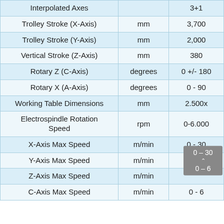| Parameter | Unit | Value |
| --- | --- | --- |
| Interpolated Axes |  | 3+1 |
| Trolley Stroke (X-Axis) | mm | 3,700 |
| Trolley Stroke (Y-Axis) | mm | 2,000 |
| Vertical Stroke (Z-Axis) | mm | 380 |
| Rotary Z (C-Axis) | degrees | 0 +/- 180 |
| Rotary X (A-Axis) | degrees | 0 - 90 |
| Working Table Dimensions | mm | 2.500x |
| Electrospindle Rotation Speed | rpm | 0-6.000 |
| X-Axis Max Speed | m/min | 0 - 30 |
| Y-Axis Max Speed | m/min | 0 - 30 |
| Z-Axis Max Speed | m/min | 0 - 6 |
| C-Axis Max Speed | m/min | 0 - 6 |